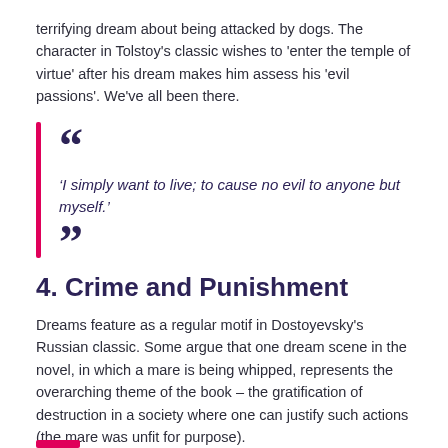terrifying dream about being attacked by dogs. The character in Tolstoy's classic wishes to 'enter the temple of virtue' after his dream makes him assess his 'evil passions'. We've all been there.
‘I simply want to live; to cause no evil to anyone but myself.’
4. Crime and Punishment
Dreams feature as a regular motif in Dostoyevsky's Russian classic. Some argue that one dream scene in the novel, in which a mare is being whipped, represents the overarching theme of the book – the gratification of destruction in a society where one can justify such actions (the mare was unfit for purpose).